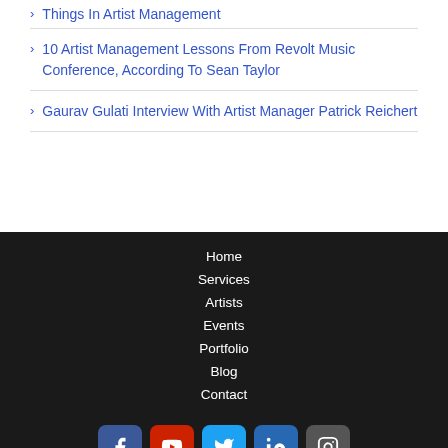Winter Music Conference (WMC) Roundtable On All Things In Artist Management
10 Artist Management Lessons From Revolt Music Conference, According To Sean Taylor
Gaurav Gulati Interview With Artist Manager Patrick Reichert
Home
Services
Artists
Events
Portfolio
Blog
Contact
[Figure (infographic): Social media icon buttons: Facebook (blue), YouTube (red), Twitter (light blue), LinkedIn (blue), Instagram (grey)]